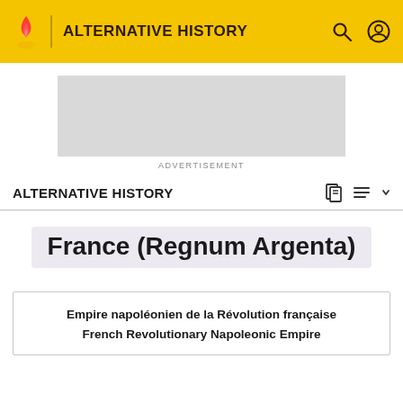ALTERNATIVE HISTORY
[Figure (other): Advertisement banner placeholder (gray rectangle)]
ADVERTISEMENT
ALTERNATIVE HISTORY
France (Regnum Argenta)
Empire napoléonien de la Révolution française
French Revolutionary Napoleonic Empire